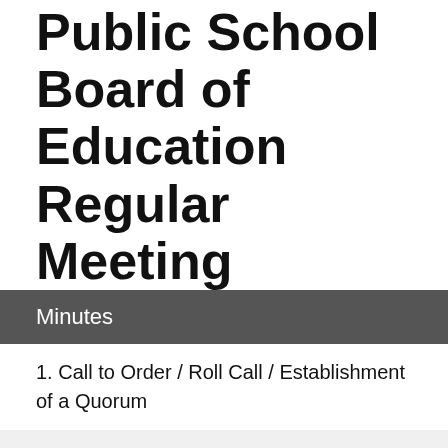Public School Board of Education Regular Meeting
Minutes
1. Call to Order / Roll Call / Establishment of a Quorum
2. Board to adjourn and reconvene in middle school classroom number 430 across the hall from the middle school media center. Proper public documentation to be displayed.
3. Recognition of Guests
4. Consent Agenda Items